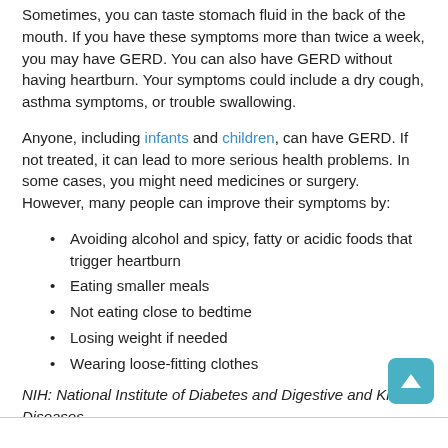Sometimes, you can taste stomach fluid in the back of the mouth. If you have these symptoms more than twice a week, you may have GERD. You can also have GERD without having heartburn. Your symptoms could include a dry cough, asthma symptoms, or trouble swallowing.
Anyone, including infants and children, can have GERD. If not treated, it can lead to more serious health problems. In some cases, you might need medicines or surgery. However, many people can improve their symptoms by:
Avoiding alcohol and spicy, fatty or acidic foods that trigger heartburn
Eating smaller meals
Not eating close to bedtime
Losing weight if needed
Wearing loose-fitting clothes
NIH: National Institute of Diabetes and Digestive and Kidney Diseases